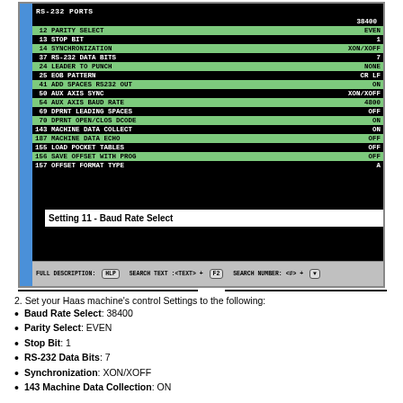[Figure (screenshot): CNC machine control settings screen showing RS-232 PORTS configuration with various parameters like Baud Rate Select (38400), Parity Select (EVEN), Stop Bit (1), etc. Status bar at bottom shows FULL DESCRIPTION, SEARCH TEXT, and SEARCH NUMBER options.]
Set your Haas machine's control Settings to the following:
Baud Rate Select: 38400
Parity Select: EVEN
Stop Bit: 1
RS-232 Data Bits: 7
Synchronization: XON/XOFF
143 Machine Data Collection: ON